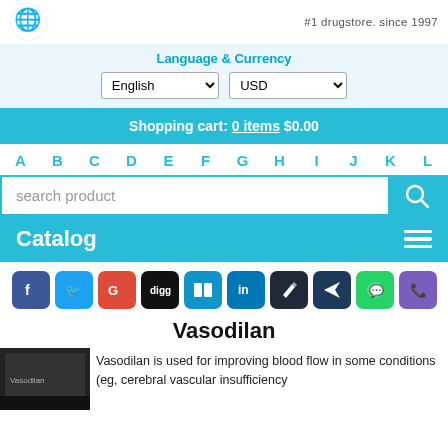#1 drugstore. since 1997
Language & Currency
Shopping cart: 0 items $0.00
A B C D E F G H I J K L
search product
Catalog
[Figure (infographic): Social sharing icons: Facebook, Twitter, Google+, Digg, Delicious, LinkedIn, pen/edit, paper plane, WhatsApp, Viber]
Vasodilan
[Figure (photo): Product photo of Vasodilan medication packaging]
Vasodilan is used for improving blood flow in some conditions (eg, cerebral vascular insufficiency